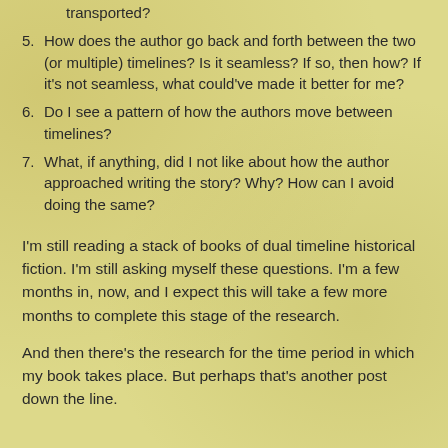4. How does the author set up a scene to help me feel transported?
5. How does the author go back and forth between the two (or multiple) timelines? Is it seamless? If so, then how? If it's not seamless, what could've made it better for me?
6. Do I see a pattern of how the authors move between timelines?
7. What, if anything, did I not like about how the author approached writing the story? Why? How can I avoid doing the same?
I'm still reading a stack of books of dual timeline historical fiction. I'm still asking myself these questions. I'm a few months in, now, and I expect this will take a few more months to complete this stage of the research.
And then there's the research for the time period in which my book takes place. But perhaps that's another post down the line.